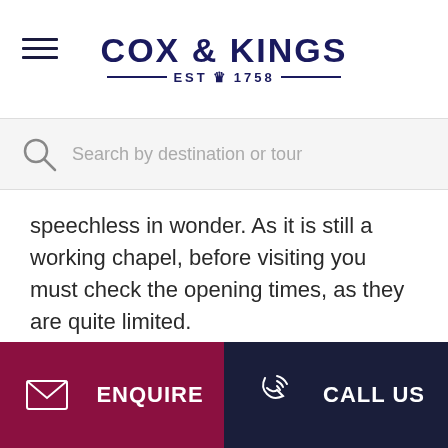COX & KINGS — EST 1758 —
Search by destination or tour
speechless in wonder. As it is still a working chapel, before visiting you must check the opening times, as they are quite limited.
ENQUIRE   CALL US